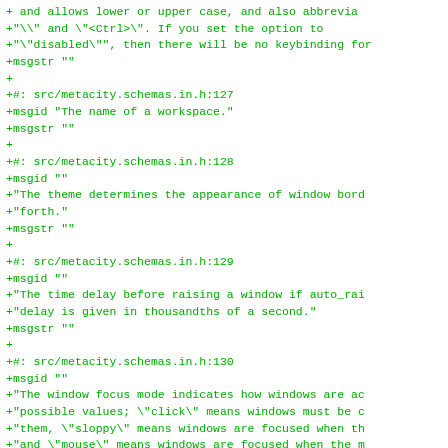+ and allows lower or upper case, and also abbrevia
+"\" and \"&lt;Ctrl&gt;\". If you set the option to
+\"disabled\", then there will be no keybinding for
+msgstr ""
+
+#: src/metacity.schemas.in.h:127
+msgid "The name of a workspace."
+msgstr ""
+
+#: src/metacity.schemas.in.h:128
+msgid ""
+"The theme determines the appearance of window bord
+"forth."
+msgstr ""
+
+#: src/metacity.schemas.in.h:129
+msgid ""
+"The time delay before raising a window if auto_rai
+"delay is given in thousandths of a second."
+msgstr ""
+
+#: src/metacity.schemas.in.h:130
+msgid ""
+"The window focus mode indicates how windows are ac
+"possible values; \"click\" means windows must be c
+"them, \"sloppy\" means windows are focused when th
+"and \"mouse\" means windows are focused when the m
+"unfocused when the mouse leaves the window."
+msgstr ""
+
+#: src/metacity.schemas.in.h:131